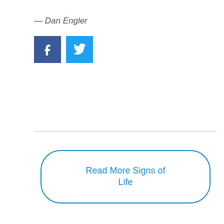— Dan Engler
[Figure (infographic): Facebook share button (blue square with white 'f' icon) and Twitter share button (light blue square with white bird icon)]
Read More Signs of Life